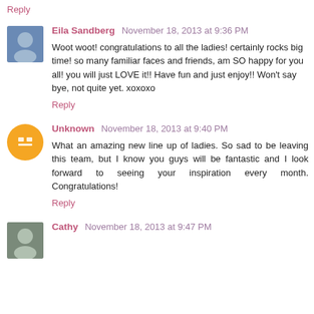Reply
Eila Sandberg November 18, 2013 at 9:36 PM
Woot woot! congratulations to all the ladies! certainly rocks big time! so many familiar faces and friends, am SO happy for you all! you will just LOVE it!! Have fun and just enjoy!! Won't say bye, not quite yet. xoxoxo
Reply
Unknown November 18, 2013 at 9:40 PM
What an amazing new line up of ladies. So sad to be leaving this team, but I know you guys will be fantastic and I look forward to seeing your inspiration every month. Congratulations!
Reply
Cathy November 18, 2013 at 9:47 PM